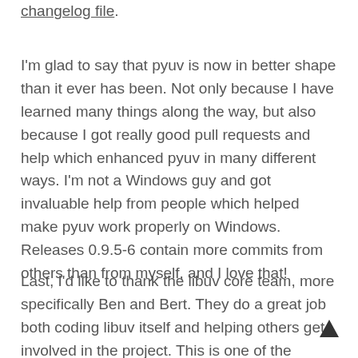changelog file.
I'm glad to say that pyuv is now in better shape than it ever has been. Not only because I have learned many things along the way, but also because I got really good pull requests and help which enhanced pyuv in many different ways. I'm not a Windows guy and got invaluable help from people which helped make pyuv work properly on Windows. Releases 0.9.5-6 contain more commits from others than from myself, and I love that!
Last, I'd like to thank the libuv core team, more specifically Ben and Bert. They do a great job both coding libuv itself and helping others get involved in the project. This is one of the projects I'm really happy I